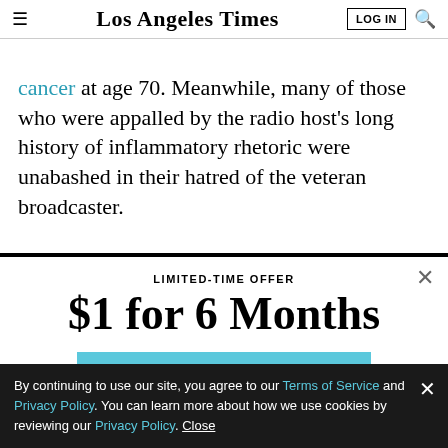Los Angeles Times
cancer at age 70. Meanwhile, many of those who were appalled by the radio host's long history of inflammatory rhetoric were unabashed in their hatred of the veteran broadcaster.
LIMITED-TIME OFFER
$1 for 6 Months
SUBSCRIBE NOW
By continuing to use our site, you agree to our Terms of Service and Privacy Policy. You can learn more about how we use cookies by reviewing our Privacy Policy. Close